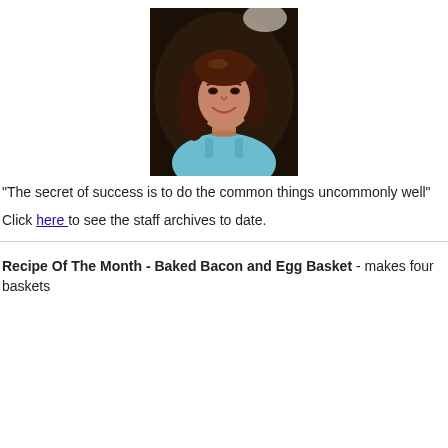[Figure (photo): Photo of a young woman with brown hair wearing a light blue top, smiling, dark background]
"The secret of success is to do the common things uncommonly well"
Click here to see the staff archives to date.
Recipe Of The Month - Baked Bacon and Egg Basket - makes four baskets